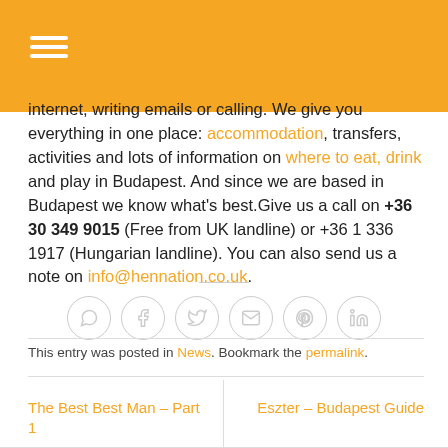(orange navigation bar with hamburger menu)
internet, writing emails or calling. We give you everything in one place: accommodation, transfers, activities and lots of information on where to eat, drink and play in Budapest. And since we are based in Budapest we know what's best.Give us a call on +36 30 349 9015 (Free from UK landline) or +36 1 336 1917 (Hungarian landline). You can also send us a note on info@hennation.co.uk.
[Figure (other): Social sharing icons: WhatsApp, Facebook, Twitter, Email, Pinterest, LinkedIn — all in light grey circles]
This entry was posted in News. Bookmark the permalink.
The Best Best Man – Part 1
Eszter – Budapest Guide